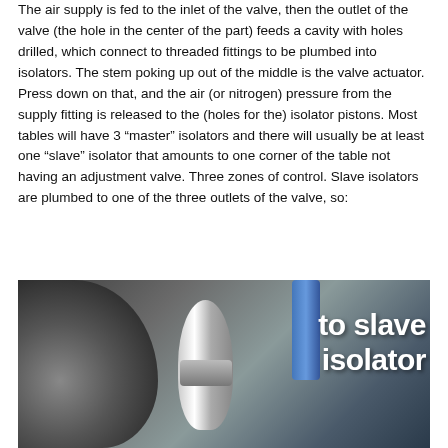The air supply is fed to the inlet of the valve, then the outlet of the valve (the hole in the center of the part) feeds a cavity with holes drilled, which connect to threaded fittings to be plumbed into isolators. The stem poking up out of the middle is the valve actuator. Press down on that, and the air (or nitrogen) pressure from the supply fitting is released to the (holes for the) isolator pistons. Most tables will have 3 “master” isolators and there will usually be at least one “slave” isolator that amounts to one corner of the table not having an adjustment valve. Three zones of control. Slave isolators are plumbed to one of the three outlets of the valve, so:
[Figure (photo): Close-up photo of a pneumatic valve assembly with a cylindrical metal stem/actuator in center, a dark curved machined part on the left, and a blue tube/fitting on the right. White bold text overlay reads 'to slave isolator'.]